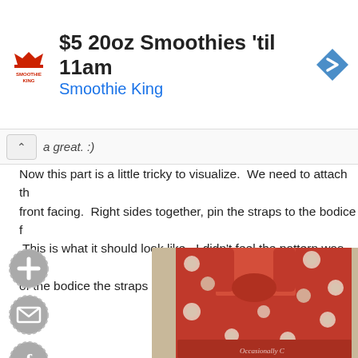[Figure (screenshot): Advertisement banner for Smoothie King: '$5 20oz Smoothies til 11am' with Smoothie King logo and navigation arrow icon]
a great. :)
Now this part is a little tricky to visualize.  We need to attach th front facing.  Right sides together, pin the straps to the bodice f  This is what it should look like.  I didn't feel the pattern was ve of the bodice the straps should be placed.
[Figure (photo): Red floral fabric garment (bodice with straps) laid on a beige carpet, with 'Occasionally C' watermark text visible at bottom right]